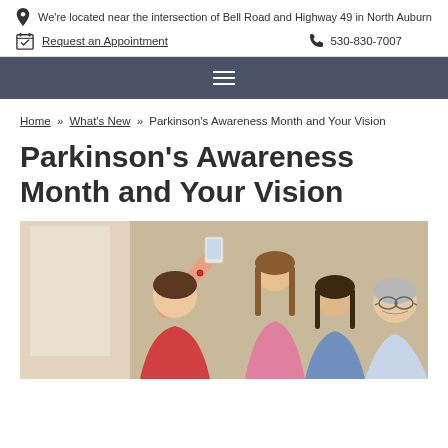We're located near the intersection of Bell Road and Highway 49 in North Auburn
Request an Appointment  530-830-7007
Home » What's New » Parkinson's Awareness Month and Your Vision
Parkinson's Awareness Month and Your Vision
[Figure (photo): A multigenerational family taking a selfie together; a young woman holds a smartphone up to take the photo, with three other family members smiling beside her including an older man wearing glasses]